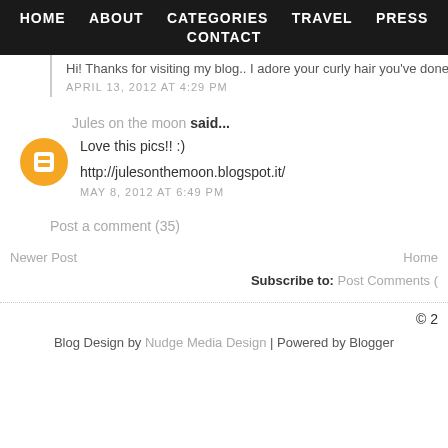HOME   ABOUT   CATEGORIES   TRAVEL   PRESS   CONTACT
Hi! Thanks for visiting my blog.. I adore your curly hair you've done her...
APRIL 13, 2012 AT 4:29 PM
Jules on the moon said...
Love this pics!! :)
http://julesonthemoon.blogspot.it/
MAY 8, 2012 AT 6:49 PM
Post a comment (35)
Newer Post
Home
Subscribe to: Post Comments (
© 2
Blog Design by Nudge Media Design | Powered by Blogger